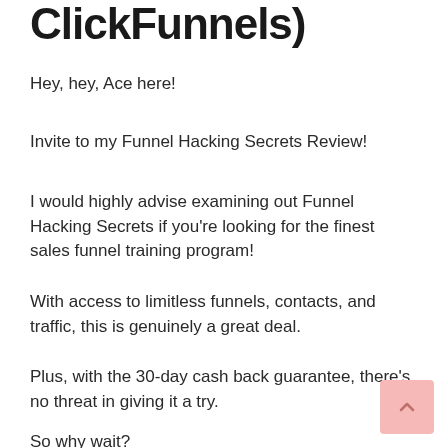ClickFunnels)
Hey, hey, Ace here!
Invite to my Funnel Hacking Secrets Review!
I would highly advise examining out Funnel Hacking Secrets if you're looking for the finest sales funnel training program!
With access to limitless funnels, contacts, and traffic, this is genuinely a great deal.
Plus, with the 30-day cash back guarantee, there's no threat in giving it a try.
So why wait?